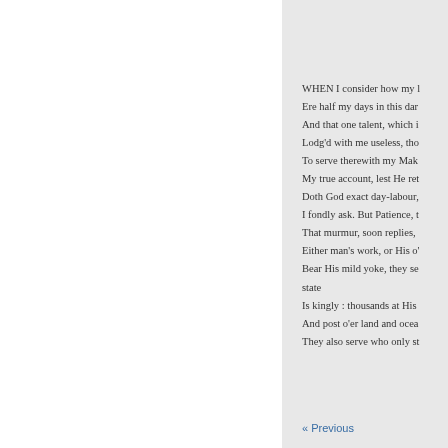WHEN I consider how my l
Ere half my days in this dar
And that one talent, which i
Lodg'd with me useless, tho
To serve therewith my Mak
My true account, lest He ret
Doth God exact day-labour,
I fondly ask. But Patience, t
That murmur, soon replies,
Either man's work, or His o
Bear His mild yoke, they se

    state

Is kingly : thousands at His
And post o'er land and ocea
They also serve who only st
« Previous